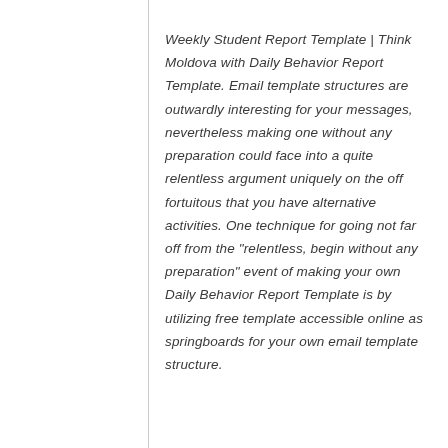Weekly Student Report Template | Think Moldova with Daily Behavior Report Template. Email template structures are outwardly interesting for your messages, nevertheless making one without any preparation could face into a quite relentless argument uniquely on the off fortuitous that you have alternative activities. One technique for going not far off from the "relentless, begin without any preparation" event of making your own Daily Behavior Report Template is by utilizing free template accessible online as springboards for your own email template structure.